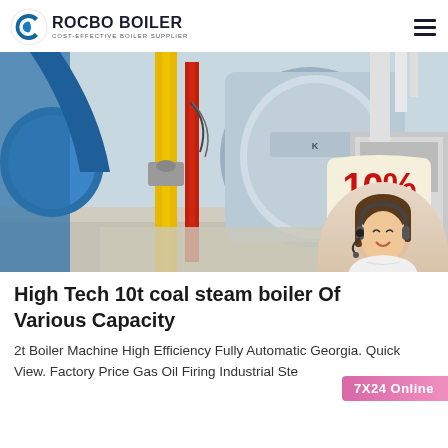[Figure (logo): Rocbo Boiler logo with circular icon and text ROCBO BOILER, Cost-Effective Boiler Supplier]
[Figure (photo): Industrial boiler room with large blue cylindrical boiler, yellow and red pipes, stainless steel housing, and a 10% DISCOUNT badge overlaid]
High Tech 10t coal steam boiler Of Various Capacity
2t Boiler Machine High Efficiency Fully Automatic Georgia. Quick View. Factory Price Gas Oil Firing Industrial Ste